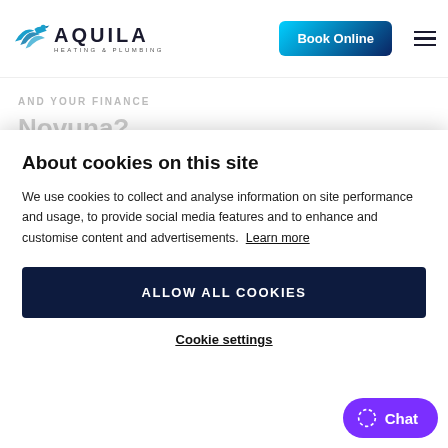[Figure (logo): Aquila Heating & Plumbing logo with stylized blue bird/wings and text]
Book Online
AND YOUR FINANCE
Novuna?
About cookies on this site
We use cookies to collect and analyse information on site performance and usage, to provide social media features and to enhance and customise content and advertisements. Learn more
ALLOW ALL COOKIES
Cookie settings